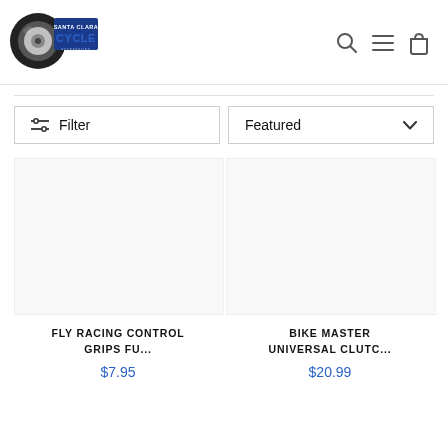[Figure (logo): Santa Clara Cycle logo with motorcycle tire and text]
[Figure (infographic): Search, hamburger menu, and shopping bag icons in header]
Filter
Featured
FLY RACING CONTROL GRIPS FU...
$7.95
BIKE MASTER UNIVERSAL CLUTC...
$20.99